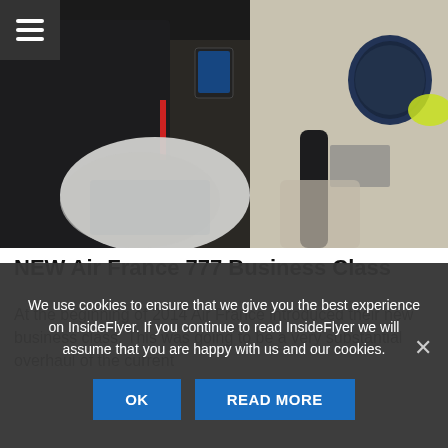[Figure (photo): Interior photo of Air France 777 business class cabin showing seats with pillows, personal screens and cabin dividers. A hamburger menu icon is visible in the top-left corner.]
NEW Air France 777 Business Class
At the beginning of 2014 Air France introduced their new business class. This was going to be a very substantial overhaul of the current
We use cookies to ensure that we give you the best experience on InsideFlyer. If you continue to read InsideFlyer we will assume that you are happy with us and our cookies.